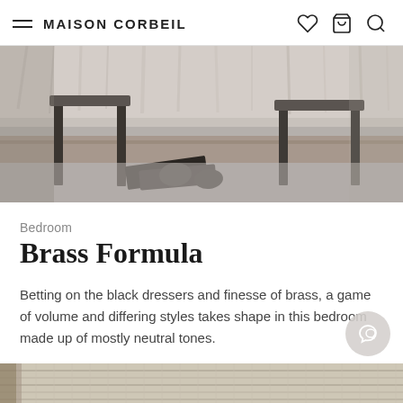MAISON CORBEIL
[Figure (photo): Interior bedroom scene showing furniture legs, a fluffy throw/rug, wooden floor, and magazines on the floor. Black and white / neutral tone photo.]
Bedroom
Brass Formula
Betting on the black dressers and finesse of brass, a game of volume and differing styles takes shape in this bedroom made up of mostly neutral tones.
Get Inspired